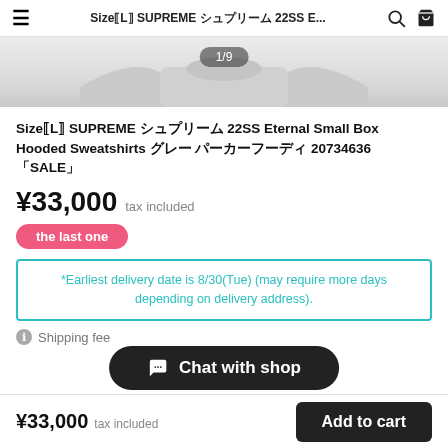Size【L】 SUPREME シュプリーム 22SS E... 🔍 🛒
[Figure (photo): Product image showing a gray Supreme hooded sweatshirt, with image counter 1/9]
Size【L】 SUPREME シュプリーム 22SS Eternal Small Box Hooded Sweatshirts グレー パーカーフーディ 20734636 「SALE」
¥33,000 tax included
the last one
*Earliest delivery date is 8/30(Tue) (may require more days depending on delivery address).
Shipping fee
Chat with shop
    
¥33,000 tax included  Add to cart